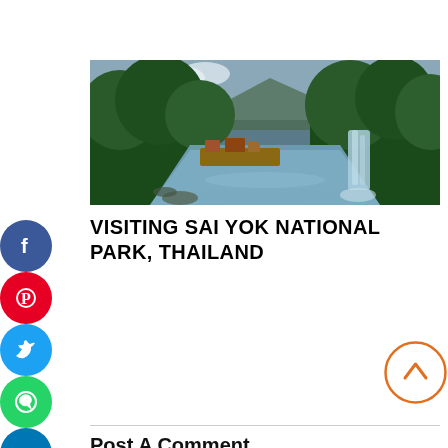[Figure (photo): River scene through lush green jungle with a waterfall on the right and floating raft structures on the water, Sai Yok National Park, Thailand]
VISITING SAI YOK NATIONAL PARK, THAILAND
Post A Comment